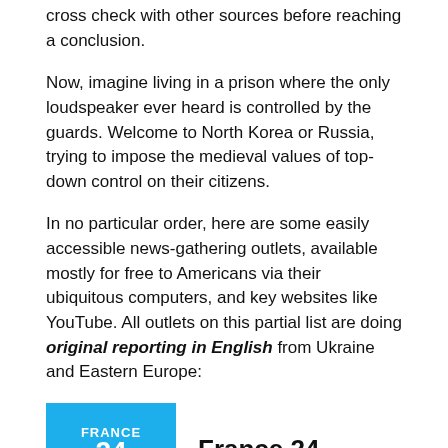cross check with other sources before reaching a conclusion.
Now, imagine living in a prison where the only loudspeaker ever heard is controlled by the guards. Welcome to North Korea or Russia, trying to impose the medieval values of top-down control on their citizens.
In no particular order, here are some easily accessible news-gathering outlets, available mostly for free to Americans via their ubiquitous computers, and key websites like YouTube. All outlets on this partial list are doing original reporting in English from Ukraine and Eastern Europe:
[Figure (logo): France 24 logo - blue square with FRANCE 24 text and wave graphic]
France 24
[Figure (logo): Red bar logo - partial view of a red rectangle logo]